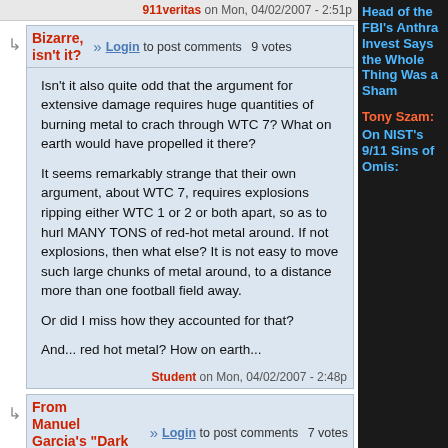911veritas on Mon, 04/02/2007 - 2:51p
Bizarre, isn't it?
Login to post comments   9 votes
Isn't it also quite odd that the argument for extensive damage requires huge quantities of burning metal to crach through WTC 7? What on earth would have propelled it there?

It seems remarkably strange that their own argument, about WTC 7, requires explosions ripping either WTC 1 or 2 or both apart, so as to hurl MANY TONS of red-hot metal around. If not explosions, then what else? It is not easy to move such large chunks of metal around, to a distance more than one football field away.

Or did I miss how they accounted for that?

And... red hot metal? How on earth...
Student on Mon, 04/02/2007 - 2:48p
From Manuel Garcia's "Dark Fire":
Login to post comments   7 votes
The upper block of WTC 1 drops into
Head of the FBI's Anthra Invest Says the Whole Thing Was a Sham
Tony Szam: On NIST's 9/11 Sins of Omis: